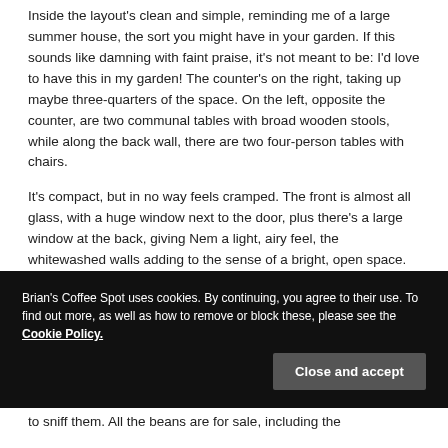Inside the layout's clean and simple, reminding me of a large summer house, the sort you might have in your garden. If this sounds like damning with faint praise, it's not meant to be: I'd love to have this in my garden! The counter's on the right, taking up maybe three-quarters of the space. On the left, opposite the counter, are two communal tables with broad wooden stools, while along the back wall, there are two four-person tables with chairs.
It's compact, but in no way feels cramped. The front is almost all glass, with a huge window next to the door, plus there's a large window at the back, giving Nem a light, airy feel, the whitewashed walls adding to the sense of a bright, open space. The furniture and exposed ceiling are
Brian's Coffee Spot uses cookies. By continuing, you agree to their use. To find out more, as well as how to remove or block these, please see the Cookie Policy.
to sniff them. All the beans are for sale, including the